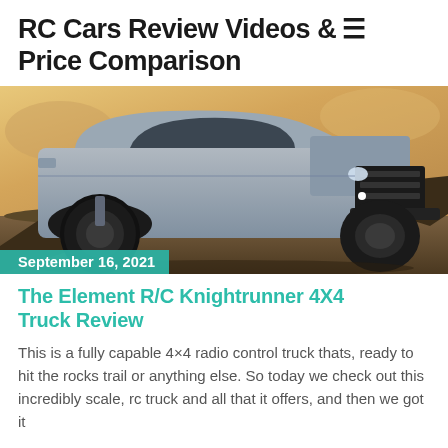RC Cars Review Videos & ≡ Price Comparison
[Figure (photo): RC truck (Element R/C Knightrunner 4X4) on rocky terrain, silver/gray color with large black tires, shot from low angle with warm sunset background]
September 16, 2021
The Element R/C Knightrunner 4X4 Truck Review
This is a fully capable 4×4 radio control truck thats, ready to hit the rocks trail or anything else. So today we check out this incredibly scale, rc truck and all that it offers, and then we got it